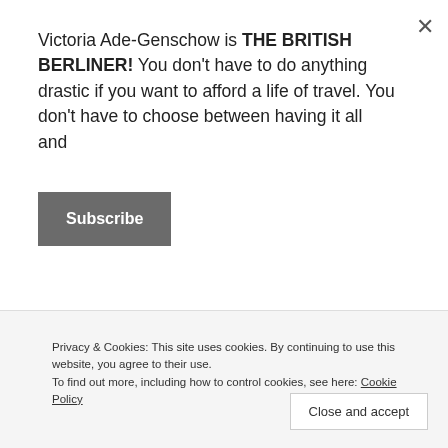Victoria Ade-Genschow is THE BRITISH BERLINER! You don't have to do anything drastic if you want to afford a life of travel. You don't have to choose between having it all and
Subscribe
I almost got pick-pocketed by a dodgy-looking Polish couple.
Almost!!!
Luckily, I noticed that the woman was walking at my pace and the man was standing too close to me and so I quickly
Privacy & Cookies: This site uses cookies. By continuing to use this website, you agree to their use.
To find out more, including how to control cookies, see here: Cookie Policy
Close and accept